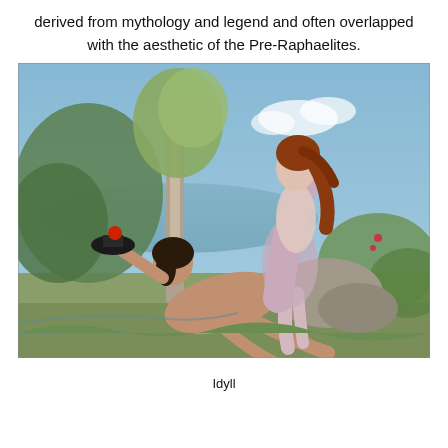derived from mythology and legend and often overlapped with the aesthetic of the Pre-Raphaelites.
[Figure (illustration): A painting titled 'Idyll' depicting two figures in a natural outdoor setting — a dark-haired male figure reclining on the ground holding a dark hat with a red apple, and a female figure with auburn hair wearing a sheer lavender garment standing beside him. Trees and foliage are visible in the background with a blue sky.]
Idyll